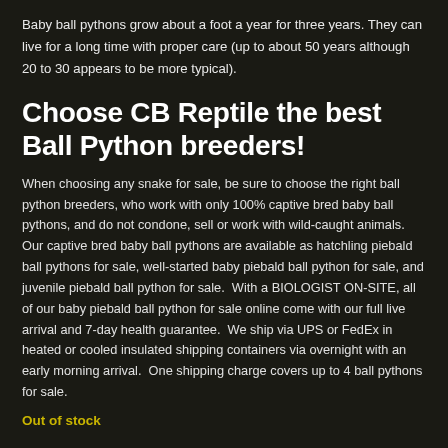Baby ball pythons grow about a foot a year for three years. They can live for a long time with proper care (up to about 50 years although 20 to 30 appears to be more typical).
Choose CB Reptile the best Ball Python breeders!
When choosing any snake for sale, be sure to choose the right ball python breeders, who work with only 100% captive bred baby ball pythons, and do not condone, sell or work with wild-caught animals.  Our captive bred baby ball pythons are available as hatchling piebald ball pythons for sale, well-started baby piebald ball python for sale, and juvenile piebald ball python for sale.  With a BIOLOGIST ON-SITE, all of our baby piebald ball python for sale online come with our full live arrival and 7-day health guarantee.  We ship via UPS or FedEx in heated or cooled insulated shipping containers via overnight with an early morning arrival.  One shipping charge covers up to 4 ball pythons for sale.
Out of stock